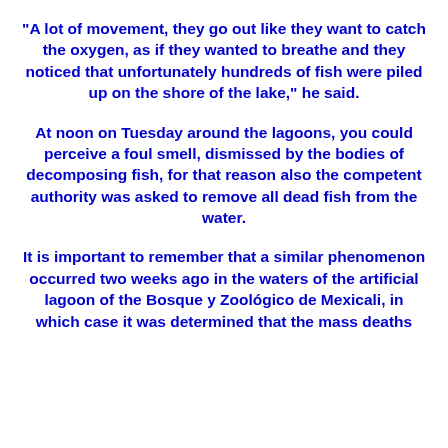“A lot of movement, they go out like they want to catch the oxygen, as if they wanted to breathe and they noticed that unfortunately hundreds of fish were piled up on the shore of the lake,” he said.
At noon on Tuesday around the lagoons, you could perceive a foul smell, dismissed by the bodies of decomposing fish, for that reason also the competent authority was asked to remove all dead fish from the water.
It is important to remember that a similar phenomenon occurred two weeks ago in the waters of the artificial lagoon of the Bosque y Zoológico de Mexicali, in which case it was determined that the mass deaths